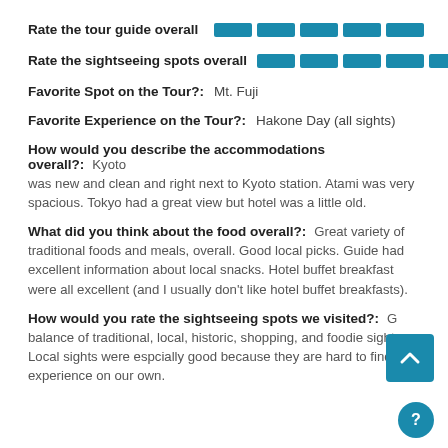Rate the tour guide overall [5-bar rating]
Rate the sightseeing spots overall [5-bar rating]
Favorite Spot on the Tour?: Mt. Fuji
Favorite Experience on the Tour?: Hakone Day (all sights)
How would you describe the accommodations overall?: Kyoto was new and clean and right next to Kyoto station. Atami was very spacious. Tokyo had a great view but hotel was a little old.
What did you think about the food overall?: Great variety of traditional foods and meals, overall. Good local picks. Guide had excellent information about local snacks. Hotel buffet breakfast were all excellent (and I usually don't like hotel buffet breakfasts).
How would you rate the sightseeing spots we visited?: G... balance of traditional, local, historic, shopping, and foodie sights. Local sights were espcially good because they are hard to find and experience on our own.